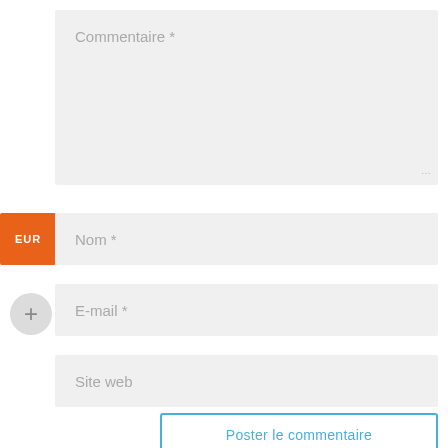[Figure (screenshot): Web comment form with a large textarea labeled 'Commentaire *', an input field labeled 'Nom *' with an orange EUR badge on the left, a '+' circle button and an input field labeled 'E-mail *', an input field labeled 'Site web', and a submit button labeled 'Poster le commentaire']